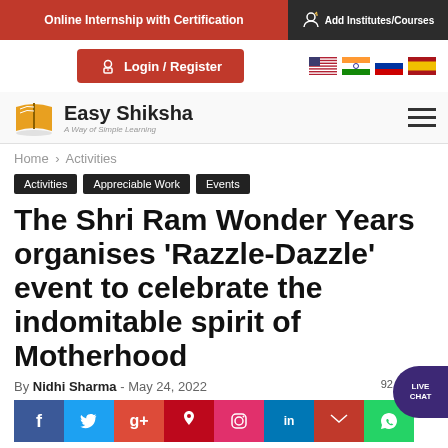Online Internship with Certification | Add Institutes/Courses
Login / Register
[Figure (logo): Easy Shiksha logo with book icon and tagline 'A Way of Simple Learning']
Home › Activities
Activities
Appreciable Work
Events
The Shri Ram Wonder Years organises 'Razzle-Dazzle' event to celebrate the indomitable spirit of Motherhood
By Nidhi Sharma - May 24, 2022